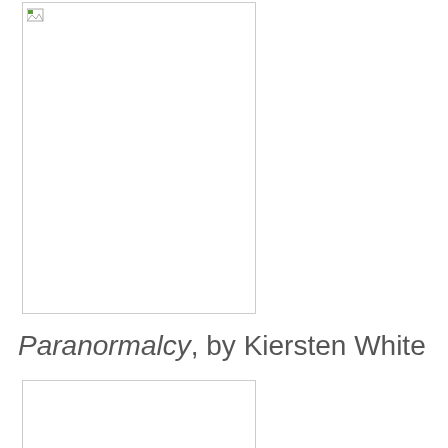[Figure (photo): Book cover image placeholder (broken image icon visible in top-left corner), with border]
Paranormalcy, by Kiersten White
[Figure (photo): Second book-related image placeholder, partially visible, with border]